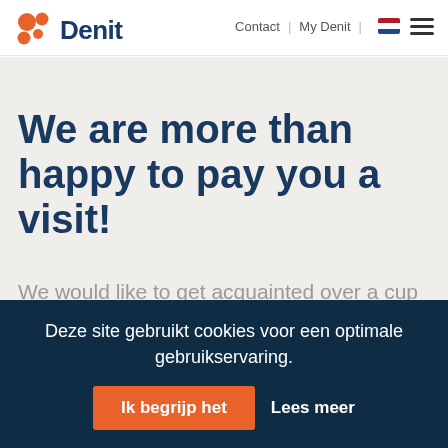Contact | My Denit
[Figure (logo): Denit logo with orange circles and dark blue text]
We are more than happy to pay you a visit!
We would like to get acquainted over a cup of coffee. Without obligations. Because Denit is all about finding the right match.
Deze site gebruikt cookies voor een optimale gebruikservaring.
Ik begrijp het   Lees meer